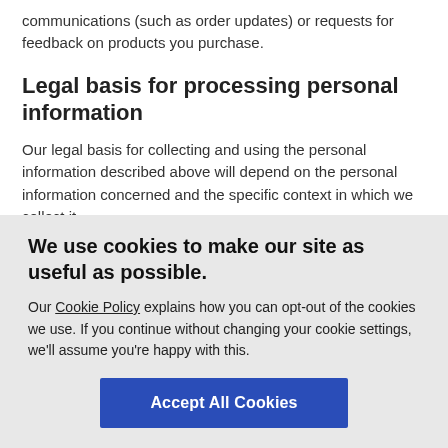communications (such as order updates) or requests for feedback on products you purchase.
Legal basis for processing personal information
Our legal basis for collecting and using the personal information described above will depend on the personal information concerned and the specific context in which we collect it.
However, we will normally only process personal information from you:
We use cookies to make our site as useful as possible.
Our Cookie Policy explains how you can opt-out of the cookies we use. If you continue without changing your cookie settings, we'll assume you're happy with this.
Accept All Cookies